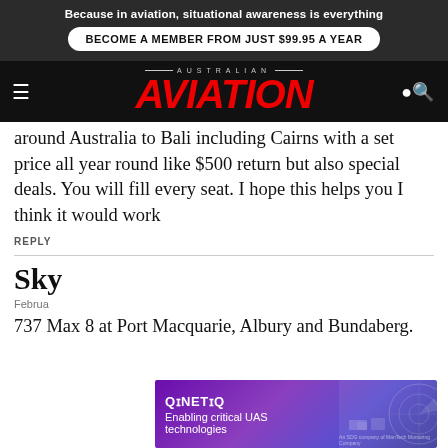Because in aviation, situational awareness is everything
BECOME A MEMBER FROM JUST $99.95 A YEAR
[Figure (logo): Australian Aviation logo with red italic AVIATION text on black background, hamburger menu icon on left, search icon on right]
around Australia to Bali including Cairns with a set price all year round like $500 return but also special deals. You will fill every seat. I hope this helps you I think it would work
REPLY
Sky
February
737 Max 8 at Port Macquarie, Albury and Bundaberg.
[Figure (infographic): QinetiQ advertisement banner: purple/violet background with text 'QINETIQ Enabling critical UAS technologies' and abstract circular radar graphic on right side]